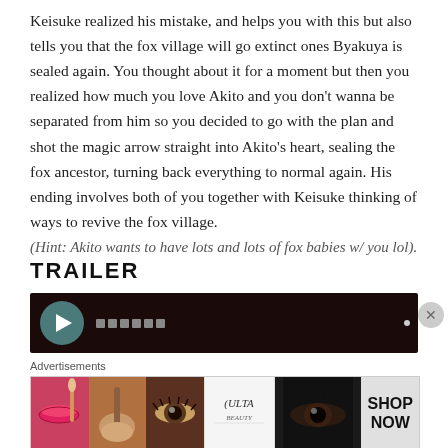Keisuke realized his mistake, and helps you with this but also tells you that the fox village will go extinct ones Byakuya is sealed again. You thought about it for a moment but then you realized how much you love Akito and you don't wanna be separated from him so you decided to go with the plan and shot the magic arrow straight into Akito's heart, sealing the fox ancestor, turning back everything to normal again. His ending involves both of you together with Keisuke thinking of ways to revive the fox village. (Hint: Akito wants to have lots and lots of fox babies w/ you lol).
TRAILER
[Figure (screenshot): Video player thumbnail showing a dark red/maroon scene with a circular play button on the left side and pixel/block icons]
Advertisements
[Figure (photo): Ulta Beauty advertisement banner showing makeup imagery including lips, brush, eye, Ulta logo, eye shadow look, and SHOP NOW button]